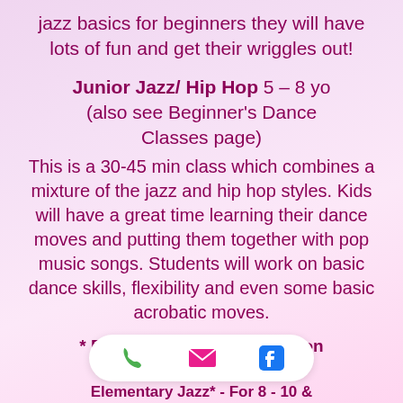jazz basics for beginners they will have lots of fun and get their wriggles out!
Junior Jazz/ Hip Hop 5 – 8 yo (also see Beginner's Dance Classes page)
This is a 30-45 min class which combines a mixture of the jazz and hip hop styles. Kids will have a great time learning their dance moves and putting them together with pop music songs. Students will work on basic dance skills, flexibility and even some basic acrobatic moves.
* Below class age depends on
[Figure (other): Mobile app bottom bar with phone, email, and Facebook icons on a white pill-shaped background]
Elementary Jazz* - For 8 - 10 &